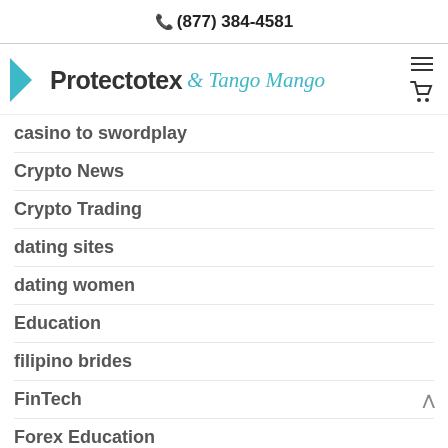(877) 384-4581
[Figure (logo): Protectotex & Tango Mango logo with teal arrow icon, hamburger menu icon, and shopping cart icon]
casino to swordplay
Crypto News
Crypto Trading
dating sites
dating women
Education
filipino brides
FinTech
Forex Education
Forex Review